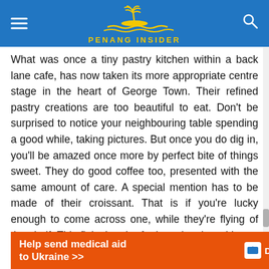PENANG INSIDER
What was once a tiny pastry kitchen within a back lane cafe, has now taken its more appropriate centre stage in the heart of George Town. Their refined pastry creations are too beautiful to eat. Don’t be surprised to notice your neighbouring table spending a good while, taking pictures. But once you do dig in, you’ll be amazed once more by perfect bite of things sweet. They do good coffee too, presented with the same amount of care. A special mention has to be made of their croissant. That is if you’re lucky enough to come across one, while they’re flying of the shelf. This flaky bomb of crispy dough and butter is the real deal.
310 Lebuh Pantai
[Figure (other): Orange advertisement banner: Help send medical aid to Ukraine >> with Direct Relief logo]